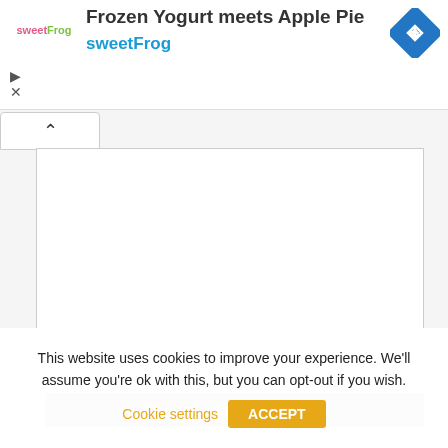[Figure (other): sweetFrog advertisement banner with logo, title 'Frozen Yogurt meets Apple Pie', brand name 'sweetFrog', navigation arrow icon, play and close controls]
Transmission and chassis
This website uses cookies to improve your experience. We'll assume you're ok with this, but you can opt-out if you wish.
Cookie settings
ACCEPT